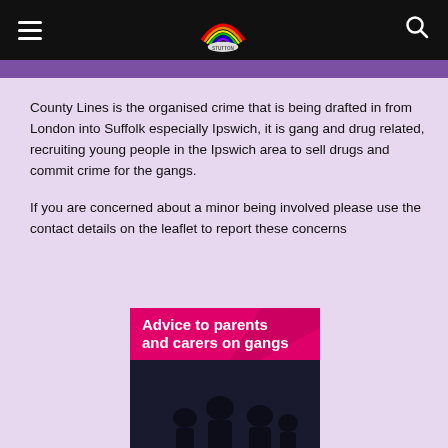Navigation bar with hamburger menu, rainbow logo (STUTTON), and search icon
County Lines is the organised crime that is being drafted in from London into Suffolk especially Ipswich, it is gang and drug related, recruiting young people in the Ipswich area to sell drugs and commit crime for the gangs.

If you are concerned about a minor being involved please use the contact details on the leaflet to report these concerns
[Figure (photo): Partial view of a leaflet titled 'Advice to parents and carers on gangs' with pink/magenta title banner and dark silhouette photo of people in background]